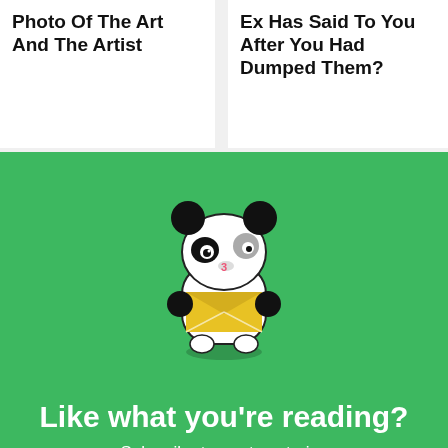Photo Of The Art And The Artist
Ex Has Said To You After You Had Dumped Them?
[Figure (illustration): Green subscription banner with cartoon panda character holding a yellow envelope, with text 'Like what you're reading? Subscribe to our top stories']
Like what you're reading?
Subscribe to our top stories
[Figure (infographic): Labor Day Sale advertisement banner for KEEN Utility with Shop Now button]